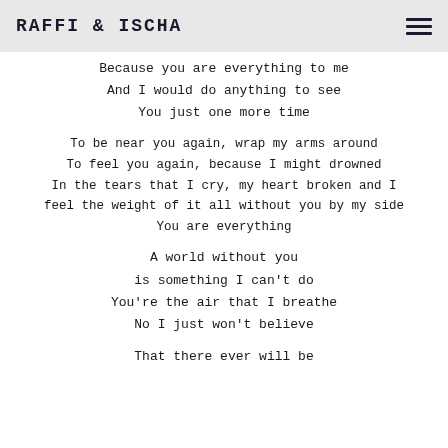RAFFI & ISCHA
Because you are everything to me
And I would do anything to see
You just one more time

To be near you again, wrap my arms around
To feel you again, because I might drowned
In the tears that I cry, my heart broken and I
feel the weight of it all without you by my side
You are everything

A world without you
is something I can't do
You're the air that I breathe
No I just won't believe

That there ever will be